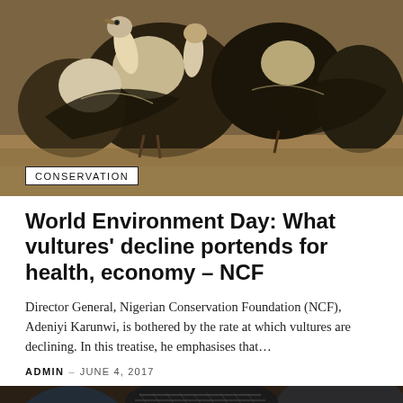[Figure (photo): Group of vultures gathered on the ground, feasting. Multiple large birds visible with brown and white plumage, in an outdoor natural setting.]
CONSERVATION
World Environment Day: What vultures' decline portends for health, economy – NCF
Director General, Nigerian Conservation Foundation (NCF), Adeniyi Karunwi, is bothered by the rate at which vultures are declining. In this treatise, he emphasises that…
ADMIN – JUNE 4, 2017
[Figure (photo): Close-up portrait of an African man wearing a traditional beaded cap/hat, glasses partially visible, looking slightly downward.]